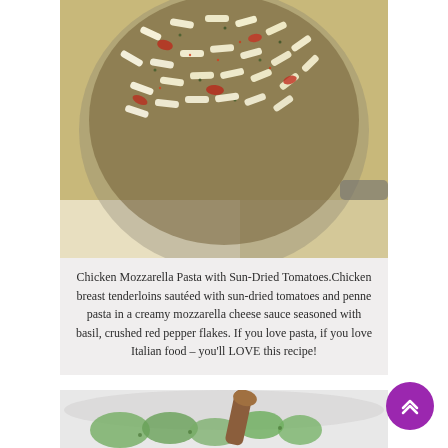[Figure (photo): Close-up overhead photo of a skillet of penne pasta with sun-dried tomatoes, mozzarella, and crushed red pepper flakes]
Chicken Mozzarella Pasta with Sun-Dried Tomatoes.Chicken breast tenderloins sautéed with sun-dried tomatoes and penne pasta in a creamy mozzarella cheese sauce seasoned with basil, crushed red pepper flakes. If you love pasta, if you love Italian food – you'll LOVE this recipe!
[Figure (photo): Partial photo of a salad bowl being served with a wooden spoon, showing green vegetables]